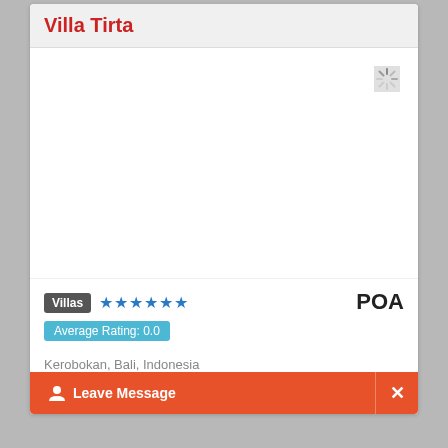Villa Tirta
[Figure (photo): Image placeholder area with a loading spinner icon in the top-right corner]
Villas ★★★★★★ POA
Average Rating: 0.0
Kerobokan, Bali, Indonesia
Villa Tirta is a spacious 7-bedroom estate, set in...
Leave Message ✕